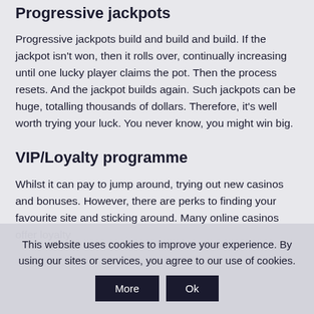Progressive jackpots
Progressive jackpots build and build and build. If the jackpot isn't won, then it rolls over, continually increasing until one lucky player claims the pot. Then the process resets. And the jackpot builds again. Such jackpots can be huge, totalling thousands of dollars. Therefore, it's well worth trying your luck. You never know, you might win big.
VIP/Loyalty programme
Whilst it can pay to jump around, trying out new casinos and bonuses. However, there are perks to finding your favourite site and sticking around. Many online casinos offer loyalty
This website uses cookies to improve your experience. By using our sites or services, you agree to our use of cookies.